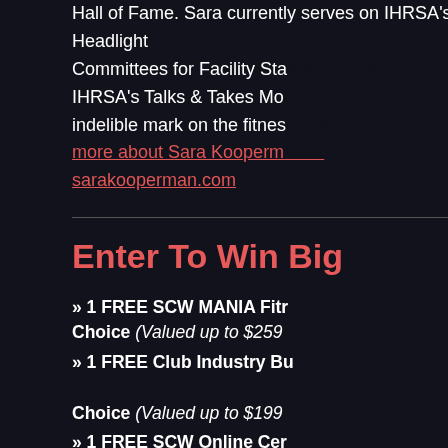Hall of Fame. Sara currently serves on IHRSA's Headlight Committees for Facility Standards and as a Host for IHRSA's Talks & Takesموضوع. She continues to make an indelible mark on the fitness industry. Learn more about Sara Kooperman at sarakooperman.com
Enter To Win Big
» 1 FREE SCW MANIA Fitness Retreat of Your Choice (Valued up to $259)
» 1 FREE Club Industry Business Resource of Your Choice (Valued up to $199)
» 1 FREE SCW Online Certification of Your Choice (Valued at $199)
» 1 FREE Year of SCW Online Membership
» 3 FREE WATERinMOTION® Online Certifications